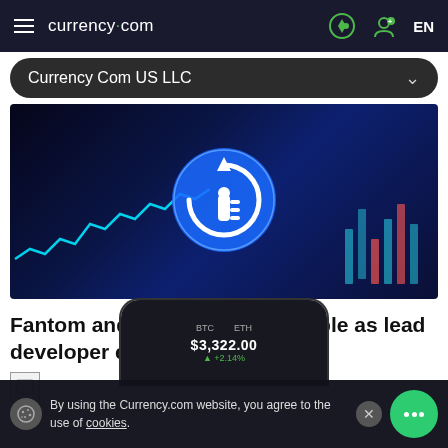currency.com  EN
Currency Com US LLC
[Figure (photo): Dark blue background with a glowing yearn.finance (YFI) circular logo icon in white and blue, with a cyan line chart on the left and blurred candlestick chart bars on the right]
Fantom and yearn.finance wobble as lead developer exits
[Figure (photo): Broken image placeholder icon]
[Figure (screenshot): Partial mobile phone screen showing a trading app interface with price figures]
By using the Currency.com website, you agree to the use of cookies.